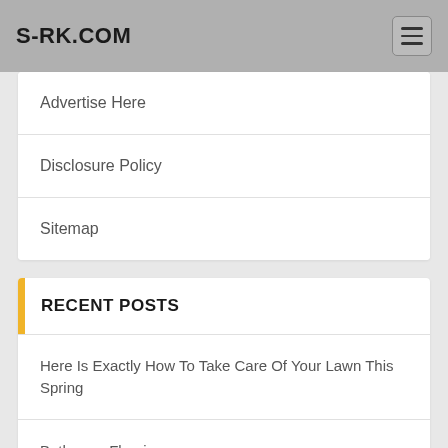S-RK.COM
Advertise Here
Disclosure Policy
Sitemap
RECENT POSTS
Here Is Exactly How To Take Care Of Your Lawn This Spring
Bathroom Flooring
Kitchen Design Challenge